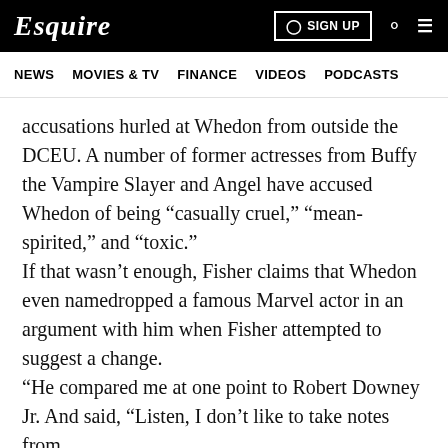Esquire | SIGN UP
NEWS  MOVIES & TV  FINANCE  VIDEOS  PODCASTS
accusations hurled at Whedon from outside the DCEU. A number of former actresses from Buffy the Vampire Slayer and Angel have accused Whedon of being “casually cruel,” “mean-spirited,” and “toxic.”
If that wasn’t enough, Fisher claims that Whedon even namedropped a famous Marvel actor in an argument with him when Fisher attempted to suggest a change.
“He compared me at one point to Robert Downey Jr. And said, “Listen, I don’t like to take notes from